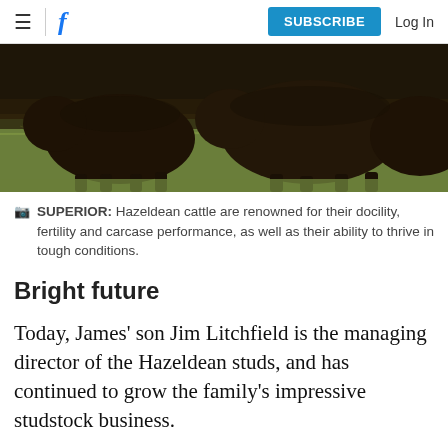≡  f  SUBSCRIBE  Log In
[Figure (photo): Dark-coated cattle grazing in a grassy field, photographed from behind/side at low angle. Multiple animals visible against green grass background.]
SUPERIOR: Hazeldean cattle are renowned for their docility, fertility and carcase performance, as well as their ability to thrive in tough conditions.
Bright future
Today, James' son Jim Litchfield is the managing director of the Hazeldean studs, and has continued to grow the family's impressive studstock business.